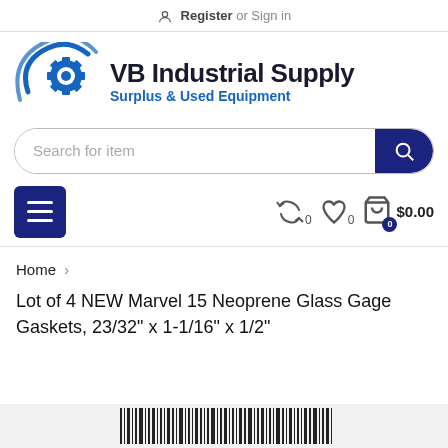Register or Sign in
[Figure (logo): VB Industrial Supply logo with gear icon, company name and tagline 'Surplus & Used Equipment']
[Figure (screenshot): Search bar with placeholder 'Search for item' and dark navy search button]
[Figure (screenshot): Navigation bar with hamburger menu button, compare/wishlist/cart icons showing 0 items and $0.00]
Home
Lot of 4 NEW Marvel 15 Neoprene Glass Gage Gaskets, 23/32" x 1-1/16" x 1/2"
[Figure (photo): Partial barcode image at bottom of page]